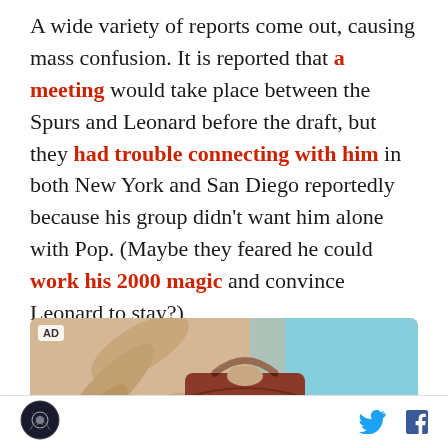A wide variety of reports come out, causing mass confusion. It is reported that a meeting would take place between the Spurs and Leonard before the draft, but they had trouble connecting with him in both New York and San Diego reportedly because his group didn't want him alone with Pop. (Maybe they feared he could work his 2000 magic and convince Leonard to stay?)
[Figure (photo): Advertisement image showing a person holding a brown leather handbag against a light sandy/sky background with leaf shapes visible]
Site logo | Twitter icon | Facebook icon